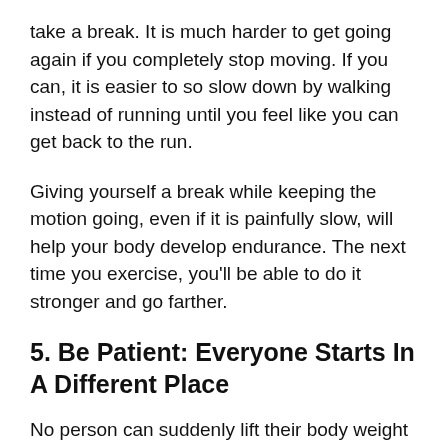take a break. It is much harder to get going again if you completely stop moving. If you can, it is easier to so slow down by walking instead of running until you feel like you can get back to the run.
Giving yourself a break while keeping the motion going, even if it is painfully slow, will help your body develop endurance. The next time you exercise, you'll be able to do it stronger and go farther.
5. Be Patient: Everyone Starts In A Different Place
No person can suddenly lift their body weight or run 10 miles at once. Everyone has their own starting line. For some, it may be jogging for 2 minutes, or 5 minutes for others, lifting 10 pounds or 50.